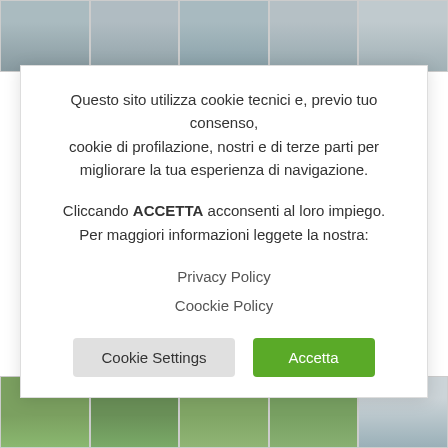[Figure (photo): Row of 5 soccer match photos at the top of the page]
Questo sito utilizza cookie tecnici e, previo tuo consenso, cookie di profilazione, nostri e di terze parti per migliorare la tua esperienza di navigazione.
Cliccando ACCETTA acconsenti al loro impiego. Per maggiori informazioni leggete la nostra:
Privacy Policy
Coockie Policy
Cookie Settings   Accetta
[Figure (photo): Row of 5 soccer match photos at the bottom of the page]